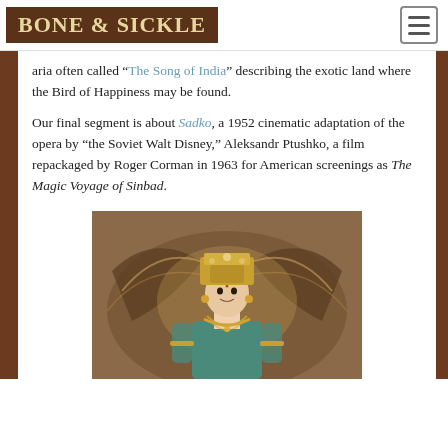BONE & SICKLE
aria often called “The Song of India” describing the exotic land where the Bird of Happiness may be found.
Our final segment is about Sadko, a 1952 cinematic adaptation of the opera by “the Soviet Walt Disney,” Aleksandr Ptushko, a film repackaged by Roger Corman in 1963 for American screenings as The Magic Voyage of Sinbad.
[Figure (photo): A woman in ornate Indian-style costume and headdress with jeweled crown, posed against a decorative background with large stylized feathers or wings in earth tones. Film still from the 1952 Soviet film Sadko.]